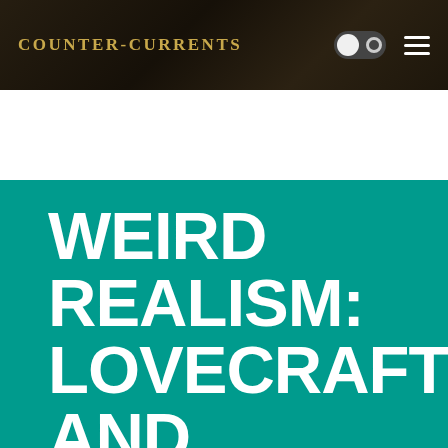Counter-Currents
[Figure (screenshot): Website screenshot showing Counter-Currents navigation bar with brand name, dark/light mode toggle, and hamburger menu. Below is a book cover image for 'Weird Realism: Lovecraft and Philosophy' by Graham Harman on a teal background.]
WEIRD REALISM: LOVECRAFT AND PHILOSOPHY
GRAHAM HARMAN